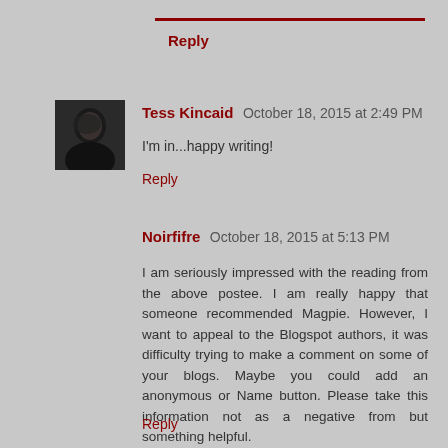Reply
Tess Kincaid  October 18, 2015 at 2:49 PM
I'm in...happy writing!
Reply
Noirfifre  October 18, 2015 at 5:13 PM
I am seriously impressed with the reading from the above postee. I am really happy that someone recommended Magpie. However, I want to appeal to the Blogspot authors, it was difficulty trying to make a comment on some of your blogs. Maybe you could add an anonymous or Name button. Please take this information not as a negative from but something helpful.
Reply